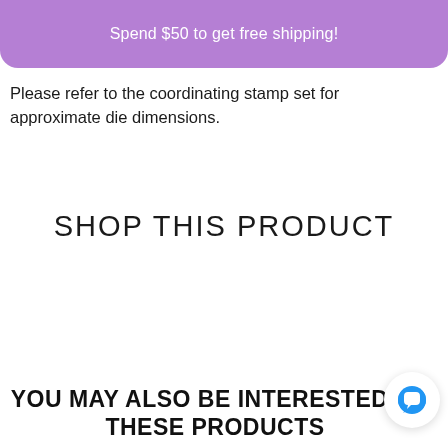Spend $50 to get free shipping!
Please refer to the coordinating stamp set for approximate die dimensions.
SHOP THIS PRODUCT
YOU MAY ALSO BE INTERESTED IN THESE PRODUCTS